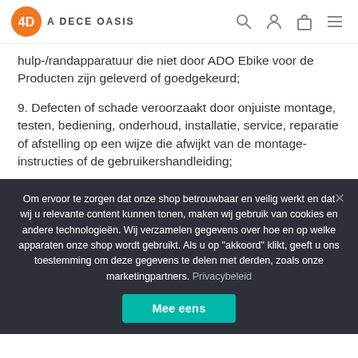A DECE OASIS
hulp-/randapparatuur die niet door ADO Ebike voor de Producten zijn geleverd of goedgekeurd;
9. Defecten of schade veroorzaakt door onjuiste montage, testen, bediening, onderhoud, installatie, service, reparatie of afstelling op een wijze die afwijkt van de montage-instructies of de gebruikershandleiding;
Om ervoor te zorgen dat onze shop betrouwbaar en veilig werkt en dat wij u relevante content kunnen tonen, maken wij gebruik van cookies en andere technologieën. Wij verzamelen gegevens over hoe en op welke apparaten onze shop wordt gebruikt. Als u op "akkoord" klikt, geeft u ons toestemming om deze gegevens te delen met derden, zoals onze marketingpartners. Privacybeleid
Mee eens